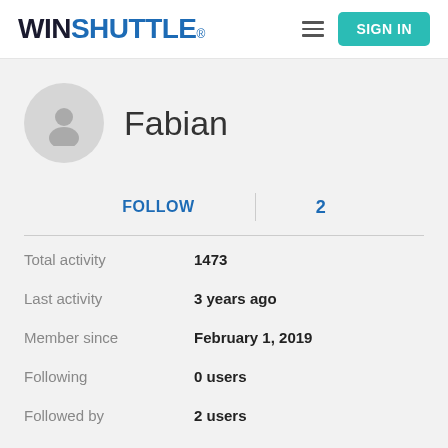WINSHUTTLE® SIGN IN
[Figure (illustration): User avatar placeholder circle with a generic person silhouette icon]
Fabian
FOLLOW  |  2
Total activity  1473
Last activity  3 years ago
Member since  February 1, 2019
Following  0 users
Followed by  2 users
Votes  0
Subscriptions  945